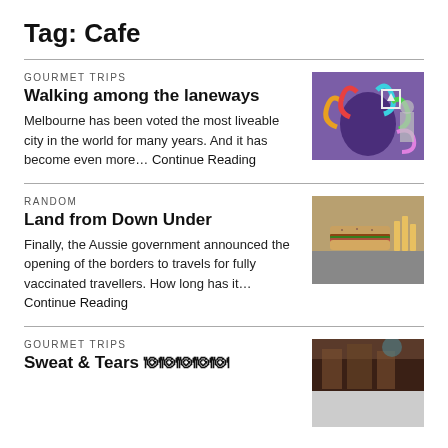Tag: Cafe
GOURMET TRIPS
Walking among the laneways
Melbourne has been voted the most liveable city in the world for many years. And it has become even more… Continue Reading
[Figure (photo): Colorful street art mural depicting a face with psychedelic patterns]
RANDOM
Land from Down Under
Finally, the Aussie government announced the opening of the borders to travels for fully vaccinated travellers. How long has it… Continue Reading
[Figure (photo): Close-up photo of a sandwich with fries on a plate]
GOURMET TRIPS
Sweat & Tears 🍽🍽🍽🍽🍽